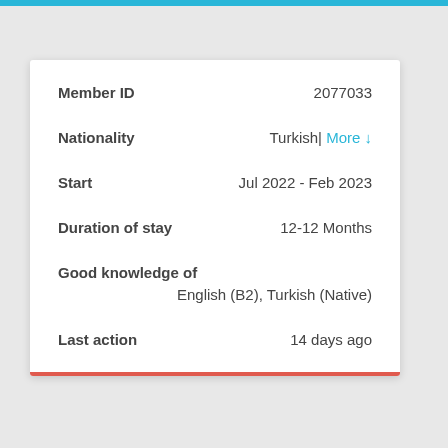| Field | Value |
| --- | --- |
| Member ID | 2077033 |
| Nationality | Turkish| More ↓ |
| Start | Jul 2022 - Feb 2023 |
| Duration of stay | 12-12 Months |
| Good knowledge of | English (B2), Turkish (Native) |
| Last action | 14 days ago |